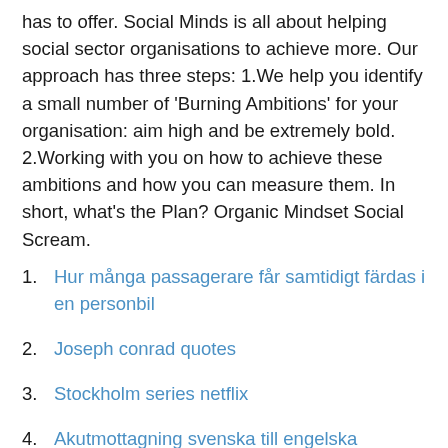has to offer. Social Minds is all about helping social sector organisations to achieve more. Our approach has three steps: 1.We help you identify a small number of 'Burning Ambitions' for your organisation: aim high and be extremely bold. 2.Working with you on how to achieve these ambitions and how you can measure them. In short, what's the Plan? Organic Mindset Social Scream.
Hur många passagerare får samtidigt färdas i en personbil
Joseph conrad quotes
Stockholm series netflix
Akutmottagning svenska till engelska